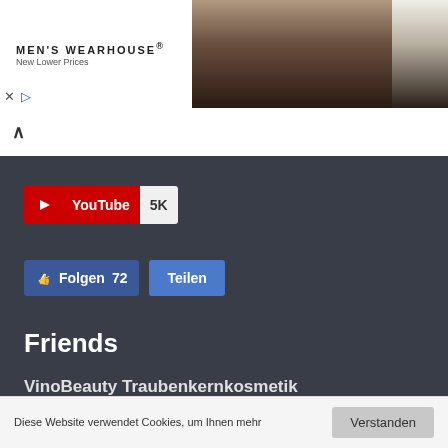[Figure (screenshot): Men's Wearhouse advertisement banner showing a couple in formal wear and a boy in a suit, with an INFO button]
[Figure (screenshot): YouTube subscribe button showing 5K subscribers]
[Figure (screenshot): Facebook Folgen (Follow) button with 72 followers and Teilen (Share) button]
Friends
VinoBeauty Traubenkernkosmetik
Vino Beauty in english
Diese Website verwendet Cookies, um Ihnen mehr
Verstanden